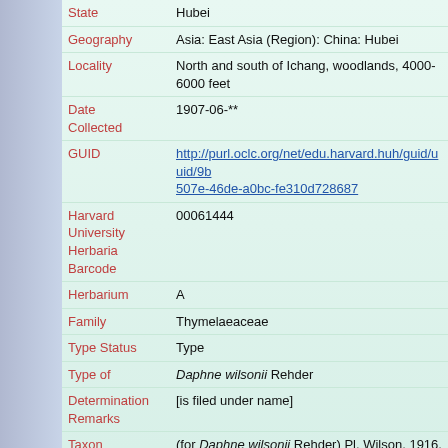| Field | Value |
| --- | --- |
| State | Hubei |
| Geography | Asia: East Asia (Region): China: Hubei |
| Locality | North and south of Ichang, woodlands, 4000-6000 feet |
| Date Collected | 1907-06-** |
| GUID | http://purl.oclc.org/net/edu.harvard.huh/guid/uuid/9b... 507e-46de-a0bc-fe310d728687 |
| Harvard University Herbaria Barcode | 00061444 |
| Herbarium | A |
| Family | Thymelaeaceae |
| Type Status | Type |
| Type of | Daphne wilsonii Rehder |
| Determination Remarks | [is filed under name] |
| Taxon Reference | (for Daphne wilsonii Rehder) Pl. Wilson. 1916. 2: 540 |
| Sex | not determined |
| Phenology | Flower |
| Preparation | Sheet |